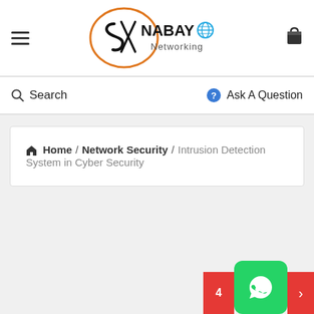Nabayo Networking - Header navigation with hamburger menu, logo, and cart icon
Search   Ask A Question
Home / Network Security / Intrusion Detection System in Cyber Security